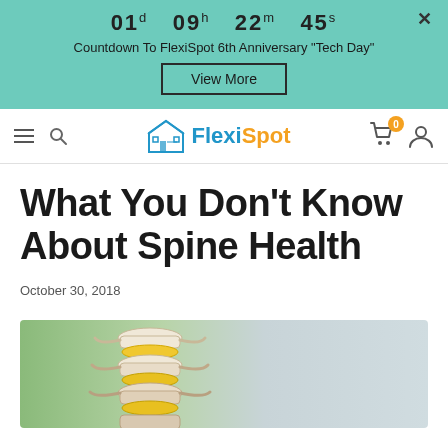01d  09h  22m  45s
Countdown To FlexiSpot 6th Anniversary "Tech Day"
View More
FlexiSpot navigation bar with hamburger, search, logo, cart (0), user icon
What You Don't Know About Spine Health
October 30, 2018
[Figure (photo): Close-up photo of a spine vertebrae model with yellow discs against a blurred green and grey background]